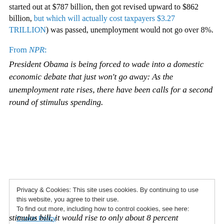started out at $787 billion, then got revised upward to $862 billion, but which will actually cost taxpayers $3.27 TRILLION) was passed, unemployment would not go over 8%.
From NPR:
President Obama is being forced to wade into a domestic economic debate that just won't go away: As the unemployment rate rises, there have been calls for a second round of stimulus spending.
Privacy & Cookies: This site uses cookies. By continuing to use this website, you agree to their use. To find out more, including how to control cookies, see here: Cookie Policy
stimulus bill, it would rise to only about 8 percent